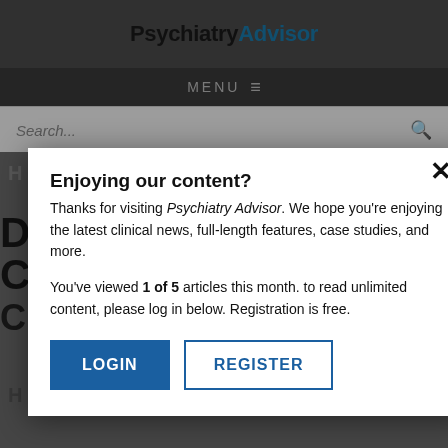PsychiatryAdvisor
MENU ≡
Search...
[Figure (screenshot): Psychiatry Advisor website background showing partial article headline and content area]
Enjoying our content?
Thanks for visiting Psychiatry Advisor. We hope you're enjoying the latest clinical news, full-length features, case studies, and more.
You've viewed 1 of 5 articles this month. to read unlimited content, please log in below. Registration is free.
LOGIN
REGISTER
NEXT POST IN SLE
Electroac Ameliora Treatmen